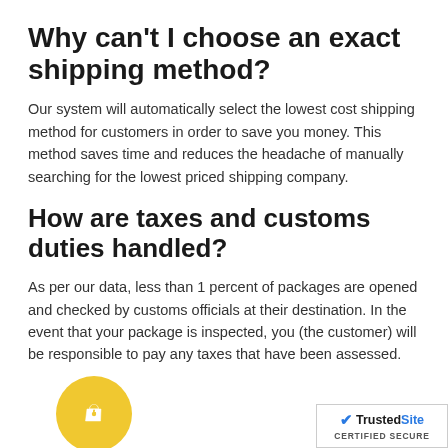Why can't I choose an exact shipping method?
Our system will automatically select the lowest cost shipping method for customers in order to save you money. This method saves time and reduces the headache of manually searching for the lowest priced shipping company.
How are taxes and customs duties handled?
As per our data, less than 1 percent of packages are opened and checked by customs officials at their destination. In the event that your package is inspected, you (the customer) will be responsible to pay any taxes that have been assessed.
[Figure (illustration): Yellow circular icon with a shopping bag and heart symbol]
Although the possibility of import taxes is very slim, we strongly suggest that you familiarize yourself with your country's policy before making a purchase. When making a f...
[Figure (logo): TrustedSite CERTIFIED SECURE badge with blue checkmark]